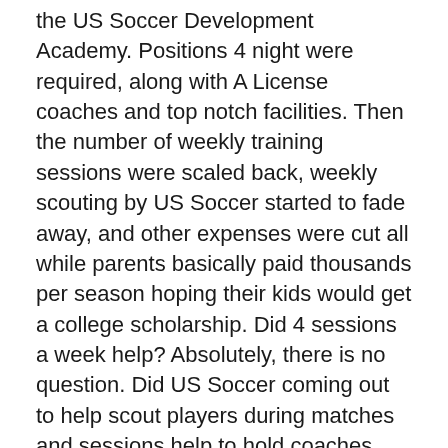the US Soccer Development Academy. Positions 4 night were required, along with A License coaches and top notch facilities. Then the number of weekly training sessions were scaled back, weekly scouting by US Soccer started to fade away, and other expenses were cut all while parents basically paid thousands per season hoping their kids would get a college scholarship. Did 4 sessions a week help? Absolutely, there is no question. Did US Soccer coming out to help scout players during matches and sessions help to hold coaches and clubs more accountable? Absolutely. But USSDA was expensive, and basically drew a huge line down the middle of US Youth Soccer with local High School coaches, the same coaches traditionally involved in USYS, on the outside looking in.
Fast forward to 2021 and enter the era of club rebrands, more USYS league competitions, and MLS doing everything they can to cash in on the next Pulisic,